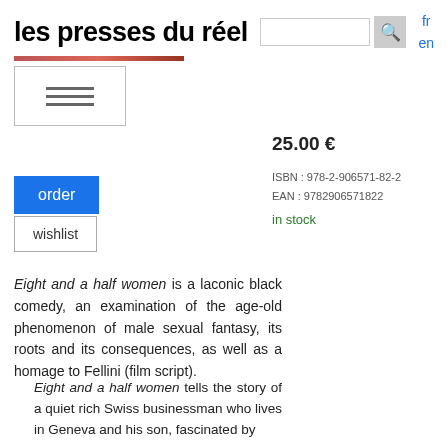les presses du réel
25.00 €
ISBN : 978-2-906571-82-2
EAN : 9782906571822
in stock
order
wishlist
Eight and a half women is a laconic black comedy, an examination of the age-old phenomenon of male sexual fantasy, its roots and its consequences, as well as a homage to Fellini (film script).
Eight and a half women tells the story of a quiet rich Swiss businessman who lives in Geneva and his son, fascinated by